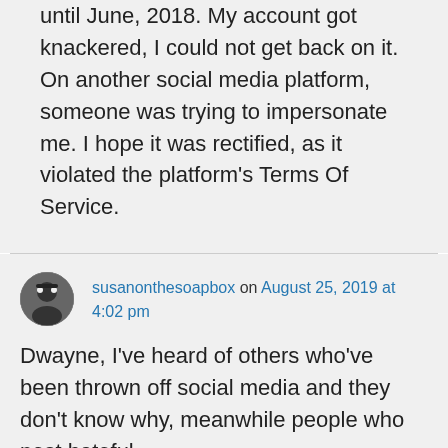until June, 2018. My account got knackered, I could not get back on it. On another social media platform, someone was trying to impersonate me. I hope it was rectified, as it violated the platform's Terms Of Service.
susanonthesoapbox on August 25, 2019 at 4:02 pm
Dwayne, I've heard of others who've been thrown off social media and they don't know why, meanwhile people who post hateful